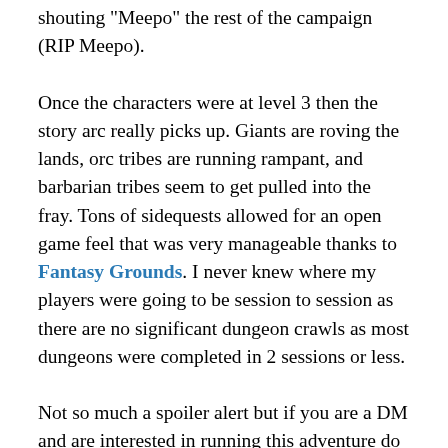shouting "Meepo" the rest of the campaign (RIP Meepo).
Once the characters were at level 3 then the story arc really picks up. Giants are roving the lands, orc tribes are running rampant, and barbarian tribes seem to get pulled into the fray. Tons of sidequests allowed for an open game feel that was very manageable thanks to Fantasy Grounds. I never knew where my players were going to be session to session as there are no significant dungeon crawls as most dungeons were completed in 2 sessions or less.
Not so much a spoiler alert but if you are a DM and are interested in running this adventure do a pre-read skim looking for the different mechanisms to move the party from scene to scene. There are several options that open up over time but it is not always clear what they are and all the options